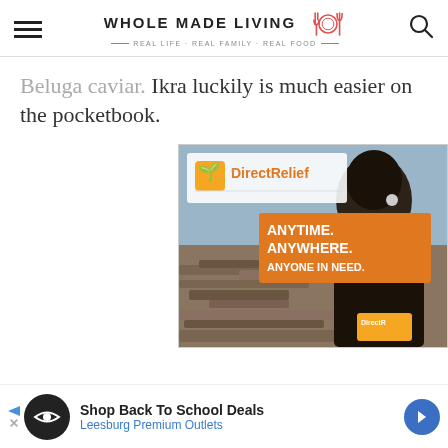WHOLE MADE LIVING — REAL LIFE · REAL FAMILY · REAL FOOD
Beluga caviar. Ikra luckily is much easier on the pocketbook.
[Figure (photo): Direct Relief advertisement showing a person from behind in a disaster zone with text 'ANYTIME. ANYWHERE. ANYONE IN NEED.' and Direct Relief logo]
[Figure (photo): Bottom banner ad: Shop Back To School Deals — Leesburg Premium Outlets]